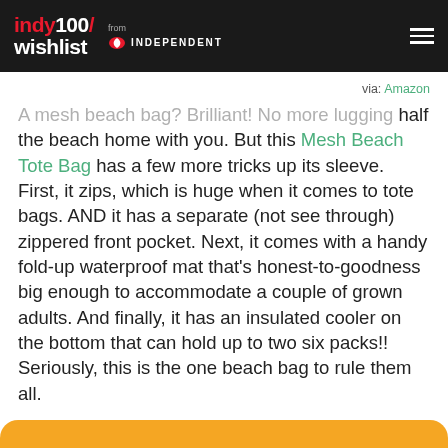indy100/wishlist from INDEPENDENT
via: Amazon
A mesh beach bag? Brilliant! No more lugging half the beach home with you. But this Mesh Beach Tote Bag has a few more tricks up its sleeve. First, it zips, which is huge when it comes to tote bags. AND it has a separate (not see through) zippered front pocket. Next, it comes with a handy fold-up waterproof mat that's honest-to-goodness big enough to accommodate a couple of grown adults. And finally, it has an insulated cooler on the bottom that can hold up to two six packs!! Seriously, this is the one beach bag to rule them all.